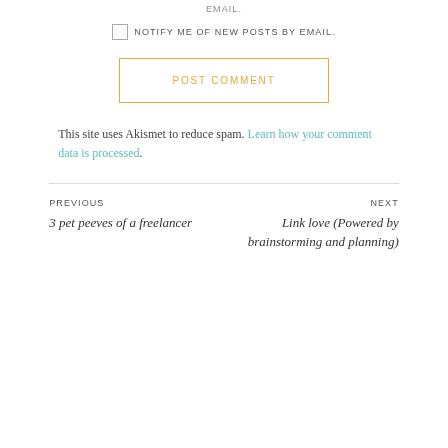EMAIL.
NOTIFY ME OF NEW POSTS BY EMAIL.
POST COMMENT
This site uses Akismet to reduce spam. Learn how your comment data is processed.
PREVIOUS
3 pet peeves of a freelancer
NEXT
Link love (Powered by brainstorming and planning)